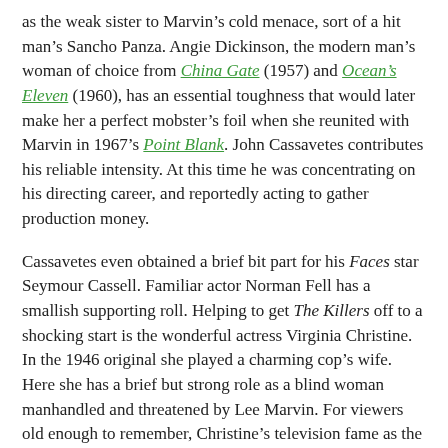as the weak sister to Marvin's cold menace, sort of a hit man's Sancho Panza. Angie Dickinson, the modern man's woman of choice from China Gate (1957) and Ocean's Eleven (1960), has an essential toughness that would later make her a perfect mobster's foil when she reunited with Marvin in 1967's Point Blank. John Cassavetes contributes his reliable intensity. At this time he was concentrating on his directing career, and reportedly acting to gather production money.
Cassavetes even obtained a brief bit part for his Faces star Seymour Cassell. Familiar actor Norman Fell has a smallish supporting roll. Helping to get The Killers off to a shocking start is the wonderful actress Virginia Christine. In the 1946 original she played a charming cop's wife. Here she has a brief but strong role as a blind woman manhandled and threatened by Lee Marvin. For viewers old enough to remember, Christine's television fame as the “Folger’s coffee lady” greatly enhances the scene’s impact.